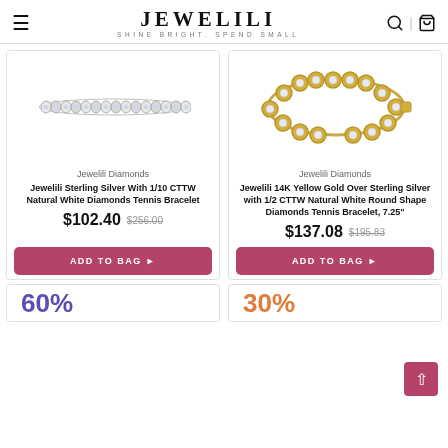JEWELILI — SHINE BRIGHT. SPEND SMALL
[Figure (photo): Silver diamond tennis bracelet on white background]
[Figure (photo): 14K yellow gold over sterling silver diamond tennis bracelet on white background]
Jewelili Diamonds
Jewelili Sterling Silver With 1/10 CTTW Natural White Diamonds Tennis Bracelet
$102.40  $256.00
ADD TO BAG
Jewelili Diamonds
Jewelili 14K Yellow Gold Over Sterling Silver with 1/2 CTTW Natural White Round Shape Diamonds Tennis Bracelet, 7.25"
$137.08  $195.83
ADD TO BAG
60%
30%